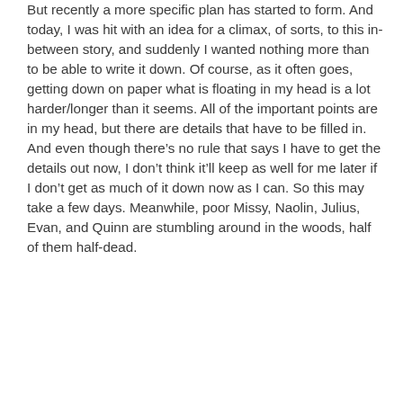But recently a more specific plan has started to form. And today, I was hit with an idea for a climax, of sorts, to this in-between story, and suddenly I wanted nothing more than to be able to write it down. Of course, as it often goes, getting down on paper what is floating in my head is a lot harder/longer than it seems. All of the important points are in my head, but there are details that have to be filled in. And even though there’s no rule that says I have to get the details out now, I don’t think it’ll keep as well for me later if I don’t get as much of it down now as I can. So this may take a few days. Meanwhile, poor Missy, Naolin, Julius, Evan, and Quinn are stumbling around in the woods, half of them half-dead.